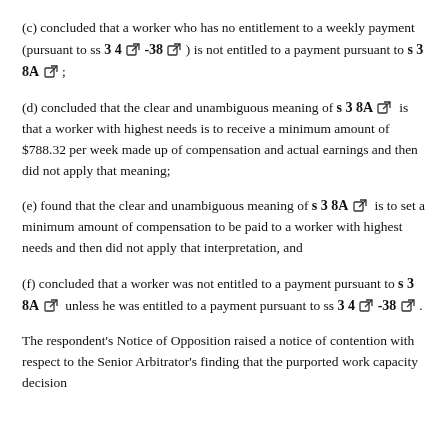(c) concluded that a worker who has no entitlement to a weekly payment (pursuant to ss 34 -38 ) is not entitled to a payment pursuant to s 38A ;
(d) concluded that the clear and unambiguous meaning of s 38A is that a worker with highest needs is to receive a minimum amount of $788.32 per week made up of compensation and actual earnings and then did not apply that meaning;
(e) found that the clear and unambiguous meaning of s 38A is to set a minimum amount of compensation to be paid to a worker with highest needs and then did not apply that interpretation, and
(f) concluded that a worker was not entitled to a payment pursuant to s 38A unless he was entitled to a payment pursuant to ss 34 -38 .
The respondent's Notice of Opposition raised a notice of contention with respect to the Senior Arbitrator's finding that the purported work capacity decision